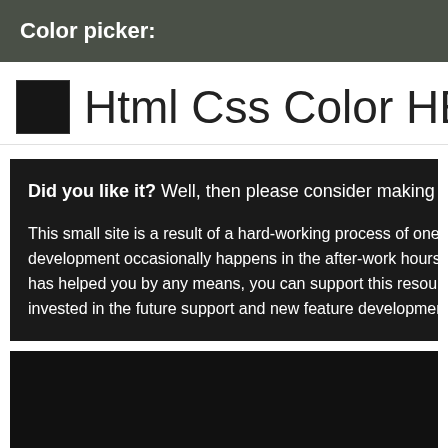Color picker:
Html Css Color HEX #16
Did you like it? Well, then please consider making a d
This small site is a result of a hard-working process of one pe development occasionally happens in the after-work hours onl has helped you by any means, you can support this resource fi invested in the future support and new feature development. Th
[Figure (other): Dark black rectangle area at the bottom of the page]